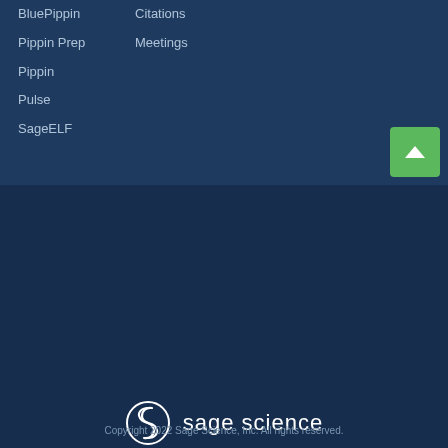BluePippin
Citations
Pippin Prep
Meetings
Pippin
Pulse
SageELF
[Figure (logo): Sage Science logo: circular S icon followed by 'sage science' text in white]
Your source in high-quality libraries for next-generation sequencing
Copyright 2022 Sage Science, Inc. All rights reserved.